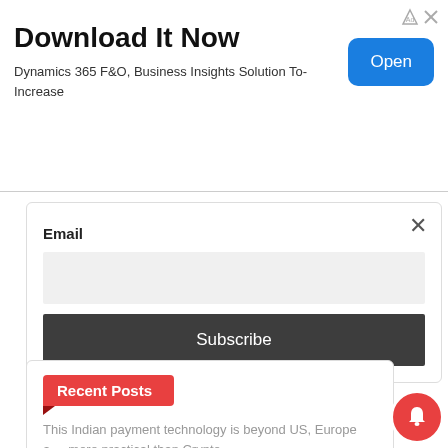[Figure (screenshot): Advertisement banner: Download It Now - Dynamics 365 F&O, Business Insights Solution To-Increase, with blue Open button]
Email
[Figure (screenshot): Subscribe form with Email input field and Subscribe button]
Recent Posts
This Indian payment technology is beyond US, Europe and more practical than Crypto